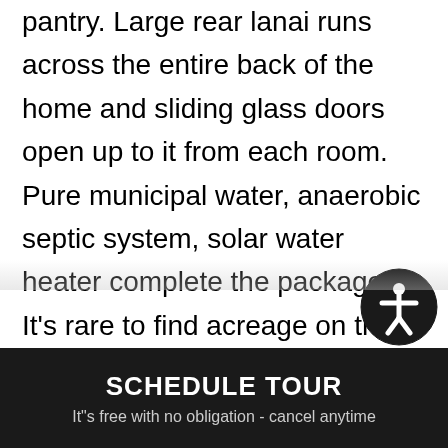pantry. Large rear lanai runs across the entire back of the home and sliding glass doors open up to it from each room. Pure municipal water, anaerobic septic system, solar water heater complete the package. It's rare to find acreage on the Westside, and this parcel is framed by the dramatic cliffside that is the Hanapepe Valley, and adjacent to 576 acres of State land. Giant Monkeypod trees shade most of the property and there are mature fruit trees like Cacao, banana, mango, citrus and more. Most of the land is level so you could raise livestock or horses. There is even a full size
SCHEDULE TOUR
It"s free with no obligation - cancel anytime